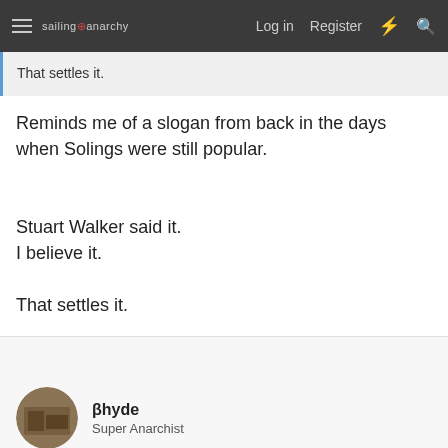sailing anarchy  Log in  Register
That settles it.
Reminds me of a slogan from back in the days when Solings were still popular.

Stuart Walker said it.
I believe it.

That settles it.
βhyde
Super Anarchist